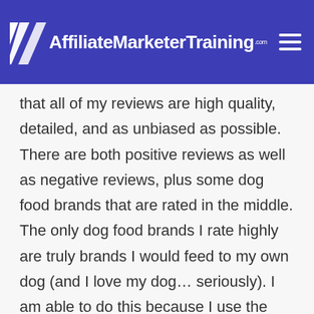AffiliateMarketerTraining.com
that all of my reviews are high quality, detailed, and as unbiased as possible. There are both positive reviews as well as negative reviews, plus some dog food brands that are rated in the middle. The only dog food brands I rate highly are truly brands I would feed to my own dog (and I love my dog… seriously). I am able to do this because I use the Amazon Associates affiliate program so it doesn't really matter what people buy – I profit with every Checkout a little